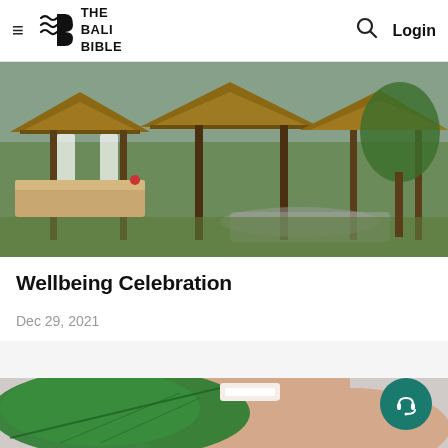THE BALI BIBLE — hamburger menu, logo, search, Login
[Figure (photo): Balinese resort with thatched roof pavilions, wooden posts, white curtains, tropical garden setting]
Wellbeing Celebration
Dec 29, 2021
[Figure (photo): Person smiling, face partially obscured by a large green tropical leaf, spa/wellness themed image]